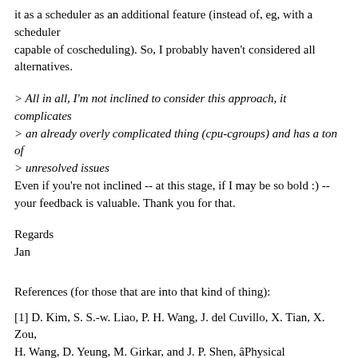it as a scheduler as an additional feature (instead of, eg, with a scheduler capable of coscheduling). So, I probably haven't considered all alternatives.
> All in all, I'm not inclined to consider this approach, it complicates
> an already overly complicated thing (cpu-cgroups) and has a ton of
> unresolved issues
Even if you're not inclined -- at this stage, if I may be so bold :) -- your feedback is valuable. Thank you for that.
Regards
Jan
References (for those that are into that kind of thing):
[1] D. Kim, S. S.-w. Liao, P. H. Wang, J. del Cuvillo, X. Tian, X. Zou,
H. Wang, D. Yeung, M. Girkar, and J. P. Shen, âPhysical experimentation
with prefetching helper threads on Intelâs hyper-threaded
processors â